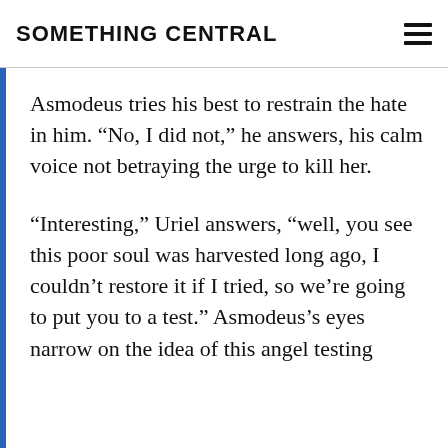SOMETHING CENTRAL
Asmodeus tries his best to restrain the hate in him. “No, I did not,” he answers, his calm voice not betraying the urge to kill her.
“Interesting,” Uriel answers, “well, you see this poor soul was harvested long ago, I couldn’t restore it if I tried, so we’re going to put you to a test.” Asmodeus’s eyes narrow on the idea of this angel testing